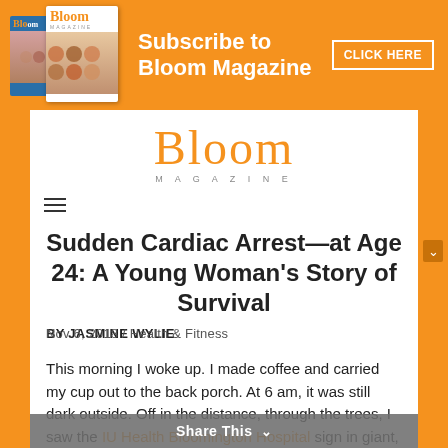[Figure (infographic): Orange banner advertisement for Bloom Magazine subscription. Shows stacked magazine covers on the left, text 'Subscribe to Bloom Magazine' in white bold text in center, and a 'CLICK HERE' button outlined in white on the right.]
Bloom MAGAZINE
[Figure (other): Hamburger menu icon (three horizontal lines)]
Sudden Cardiac Arrest—at Age 24: A Young Woman's Story of Survival
BY JASMINE WYLIE  Nov 6, 2018 / Health & Fitness
This morning I woke up. I made coffee and carried my cup out to the back porch. At 6 am, it was still dark outside. Off in the distance, through the trees, I saw the IU Health Bloomington Hospital sign in giant,
Share This